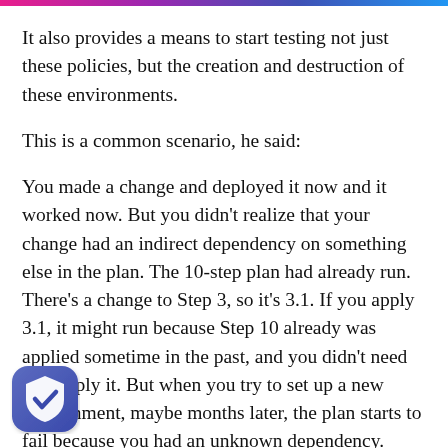It also provides a means to start testing not just these policies, but the creation and destruction of these environments.
This is a common scenario, he said:
You made a change and deployed it now and it worked now. But you didn’t realize that your change had an indirect dependency on something else in the plan. The 10-step plan had already run. There’s a change to Step 3, so it’s 3.1. If you apply 3.1, it might run because Step 10 already was applied sometime in the past, and you didn’t need to reapply it. But when you try to set up a new environment, maybe months later, the plan starts to fail because you had an unknown dependency.